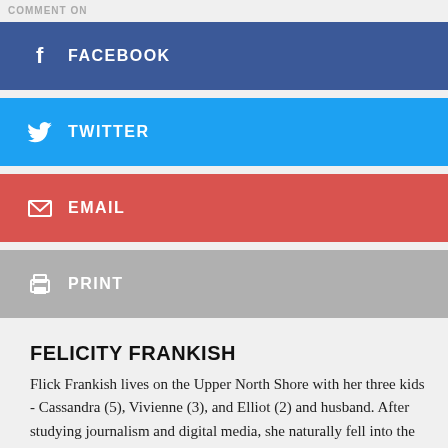COMMENT ON
FACEBOOK
TWITTER
EMAIL
PRINT
FELICITY FRANKISH
Flick Frankish lives on the Upper North Shore with her three kids - Cassandra (5), Vivienne (3), and Elliot (2) and husband. After studying journalism and digital media, she naturally fell into the online world - and hasn't left since! She is the Editor at